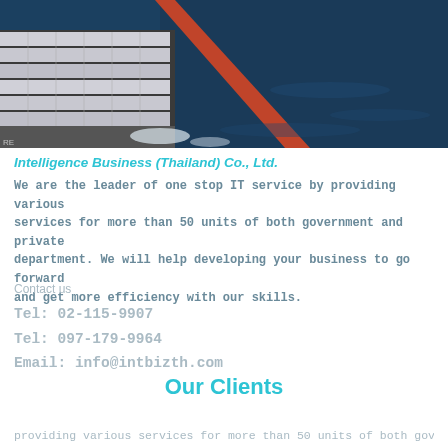[Figure (photo): Aerial photo of a large cargo container ship on dark blue ocean water with stacked shipping containers and a red and white structure visible]
Intelligence Business (Thailand) Co., Ltd.
We are the leader of one stop IT service by providing various services for more than 50 units of both government and private department. We will help developing your business to go forward and get more efficiency with our skills.
Contact us
Tel: 02-115-9907
Tel: 097-179-9964
Email: info@intbizth.com
Our Clients
providing various services for more than 50 units of both government